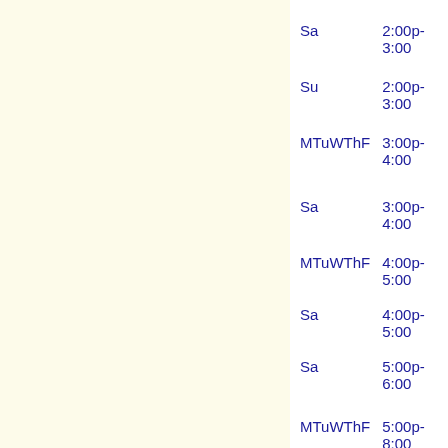Sa    2:00p- 3:00
Su    2:00p- 3:00
MTuWThF    3:00p- 4:00
Sa    3:00p- 4:00
MTuWThF    4:00p- 5:00
Sa    4:00p- 5:00
Sa    5:00p- 6:00
MTuWThF    5:00p- 8:00
Su    6:00p- 7:00
Su    7:00p- 8:00
MTuWThF    8:00p- 9:00